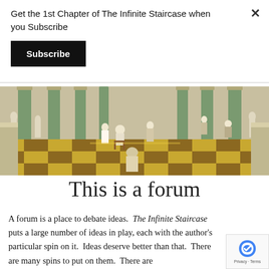Get the 1st Chapter of The Infinite Staircase when you Subscribe
Subscribe
[Figure (illustration): Illustration of an ancient Roman forum interior with marble columns, checkered floor, statues, and toga-clad figures engaged in debate and activity.]
This is a forum
A forum is a place to debate ideas. The Infinite Staircase puts a large number of ideas in play, each with the author's particular spin on it. Ideas deserve better than that. There are many spins to put on them. There are